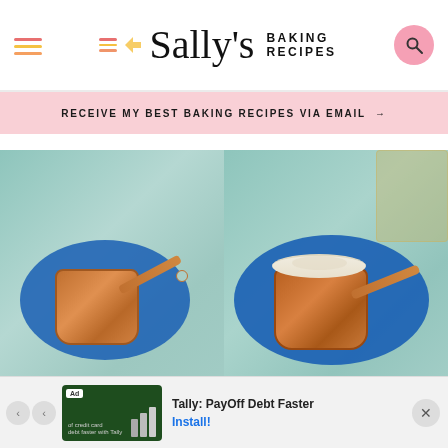Sally's Baking Recipes
RECEIVE MY BEST BAKING RECIPES VIA EMAIL →
[Figure (photo): Two copper measuring cups on blue silicone mats side by side — left cup is empty, right cup is filled with flour. Teal/aqua painted surface background. Right image has a glass jar of flour visible in upper corner.]
Ad — Tally: PayOff Debt Faster — Install!